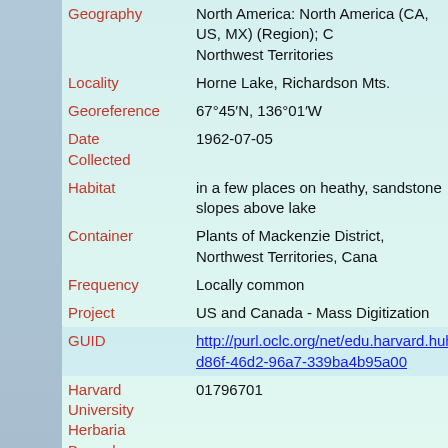| Field | Value |
| --- | --- |
| Geography | North America: North America (CA, US, MX) (Region); C... Northwest Territories |
| Locality | Horne Lake, Richardson Mts. |
| Georeference | 67°45′N, 136°01′W |
| Date Collected | 1962-07-05 |
| Habitat | in a few places on heathy, sandstone slopes above lake |
| Container | Plants of Mackenzie District, Northwest Territories, Cana... |
| Frequency | Locally common |
| Project | US and Canada - Mass Digitization |
| GUID | http://purl.oclc.org/net/edu.harvard.huh/guid/uuid/1e3...d86f-46d2-96a7-339ba4b95a00 |
| Harvard University Herbaria Barcode | 01796701 |
| Herbarium | GH |
| Previous ownership | [ex] Botany and Plant Pathology Division, Science Se... Department of Agriculture, Ottawa, Canada |
| Family | Campanulaceae |
| Determination | Campanula uniflora Linnaeus |
| Determined by | Morin, Nancy Ruth |